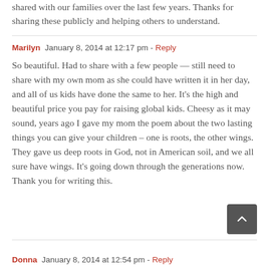shared with our families over the last few years. Thanks for sharing these publicly and helping others to understand.
Marilyn  January 8, 2014 at 12:17 pm - Reply
So beautiful. Had to share with a few people — still need to share with my own mom as she could have written it in her day, and all of us kids have done the same to her. It's the high and beautiful price you pay for raising global kids. Cheesy as it may sound, years ago I gave my mom the poem about the two lasting things you can give your children – one is roots, the other wings. They gave us deep roots in God, not in American soil, and we all sure have wings. It's going down through the generations now. Thank you for writing this.
Donna  January 8, 2014 at 12:54 pm - Reply